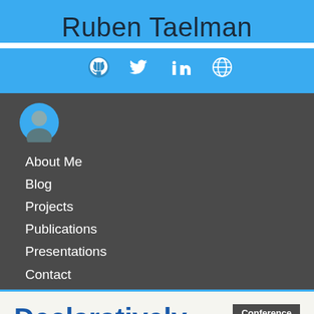Ruben Taelman
[Figure (other): Social media icons: GitHub, Twitter, LinkedIn, Globe/website]
[Figure (photo): Small circular profile photo of Ruben Taelman]
About Me
Blog
Projects
Publications
Presentations
Contact
Declaratively
Conference